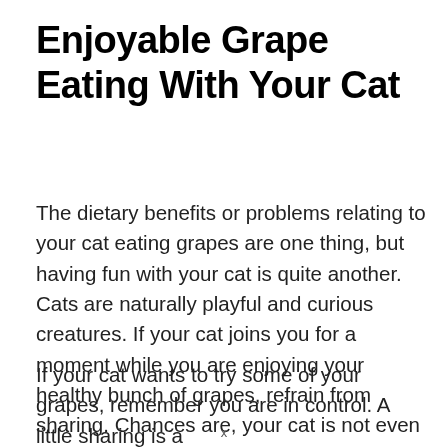Enjoyable Grape Eating With Your Cat
The dietary benefits or problems relating to your cat eating grapes are one thing, but having fun with your cat is quite another. Cats are naturally playful and curious creatures. If your cat joins you for a moment while you are enjoying your healthy bunch of grapes, refrain from sharing. Chances are, your cat is not even interested in this fruit.
If your cat wants to try some of your grapes, remember you are in control. A little sharing is a beautiful way to build friendship and devotion
x